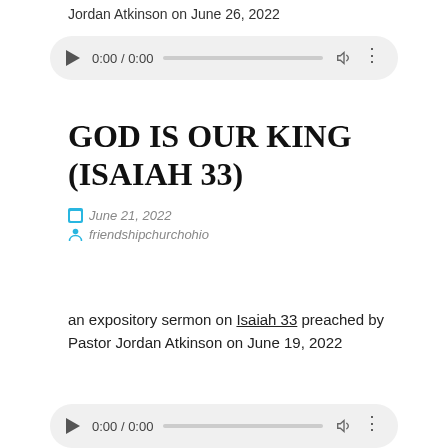Jordan Atkinson on June 26, 2022
[Figure (other): Audio player widget showing 0:00 / 0:00 with play button, progress bar, volume and more icons]
GOD IS OUR KING (ISAIAH 33)
June 21, 2022
friendshipchurchohio
an expository sermon on Isaiah 33 preached by Pastor Jordan Atkinson on June 19, 2022
[Figure (other): Audio player widget showing 0:00 / 0:00 with play button, progress bar, volume and more icons (partial, bottom of page)]